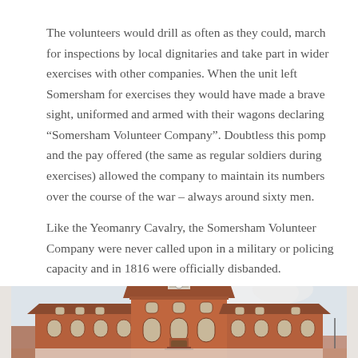The volunteers would drill as often as they could, march for inspections by local dignitaries and take part in wider exercises with other companies. When the unit left Somersham for exercises they would have made a brave sight, uniformed and armed with their wagons declaring “Somersham Volunteer Company”. Doubtless this pomp and the pay offered (the same as regular soldiers during exercises) allowed the company to maintain its numbers over the course of the war – always around sixty men.
Like the Yeomanry Cavalry, the Somersham Volunteer Company were never called upon in a military or policing capacity and in 1816 were officially disbanded.
[Figure (photo): Photograph of a red brick building with a clock tower/cupola, arched windows, and a classical architectural style, partially cropped at the bottom of the page. Sky visible in background.]